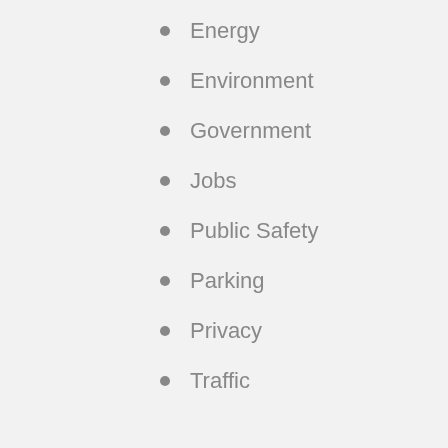Energy
Environment
Government
Jobs
Public Safety
Parking
Privacy
Traffic